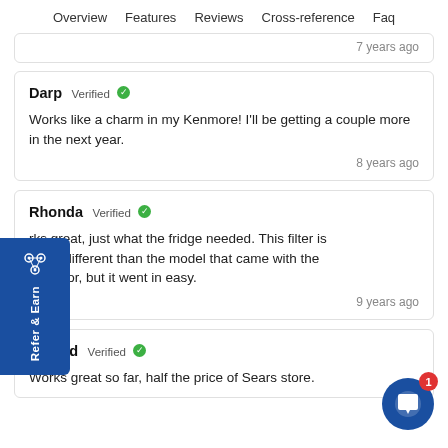Overview   Features   Reviews   Cross-reference   Faq
7 years ago
Darp Verified
Works like a charm in my Kenmore! I'll be getting a couple more in the next year.
8 years ago
Rhonda Verified
Works great, just what the fridge needed. This filter is slightly different than the model that came with the refrigerator, but it went in easy.
9 years ago
Donald Verified
Works great so far, half the price of Sears store.